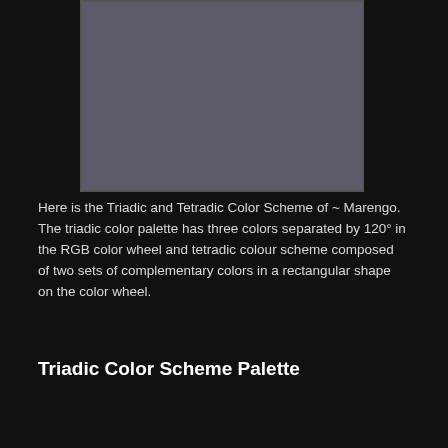[Figure (illustration): A rectangular color swatch area showing a muted grayish-purple/marengo color fill, serving as a color sample image at the top of the page.]
Here is the Triadic and Tetradic Color Scheme of ~ Marengo. The triadic color palette has three colors separated by 120° in the RGB color wheel and tetradic colour scheme composed of two sets of complementary colors in a rectangular shape on the color wheel.
Triadic Color Scheme Palette
[Figure (infographic): Three-panel triadic color palette swatches: #4D585C (muted teal-gray), #5C4D58 (muted mauve-purple), #585C4D (muted olive-gray). Each swatch is labeled with its hex code in the upper-left corner. A 'CLOSE' button appears at the bottom-right.]
[Figure (photo): Victoria's Secret advertisement banner showing a woman with curly hair on the left, Victoria's Secret logo in the center on a pink background, and a 'SHOP THE COLLECTION' text with 'SHOP NOW' button on white background on the right.]